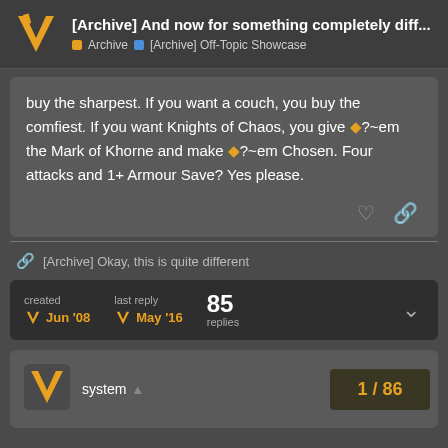[Archive] And now for something completely diff... | Archive | [Archive] Off-Topic Showcase
buy the sharpest. If you want a couch, you buy the comfiest. If you want Knights of Chaos, you give ◆?~em the Mark of Khorne and make ◆?~em Chosen. Four attacks and 1+ Armour Save? Yes please.
[Archive] Okay, this is quite different
| created | last reply | replies |
| --- | --- | --- |
| Jun '08 | May '16 | 85 |
system 1/86